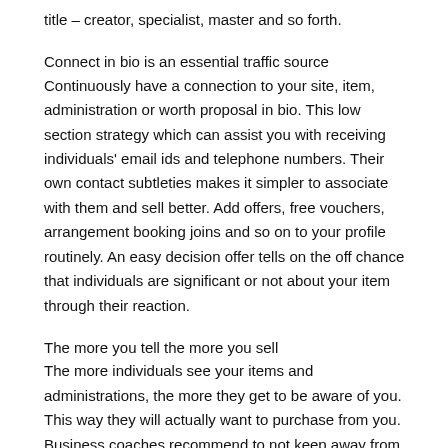title – creator, specialist, master and so forth.
Connect in bio is an essential traffic source
Continuously have a connection to your site, item, administration or worth proposal in bio. This low section strategy which can assist you with receiving individuals' email ids and telephone numbers. Their own contact subtleties makes it simpler to associate with them and sell better. Add offers, free vouchers, arrangement booking joins and so on to your profile routinely. An easy decision offer tells on the off chance that individuals are significant or not about your item through their reaction.
The more you tell the more you sell
The more individuals see your items and administrations, the more they get to be aware of you. This way they will actually want to purchase from you. Business coaches recommend to not keep away from giving precise data so crowd understands your effectiveness.